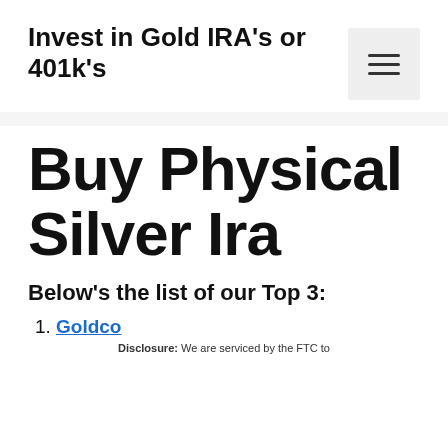Invest in Gold IRA's or 401k's
Buy Physical Silver Ira
Below's the list of our Top 3:
1. Goldco
Disclosure: We are serviced by the FTC to